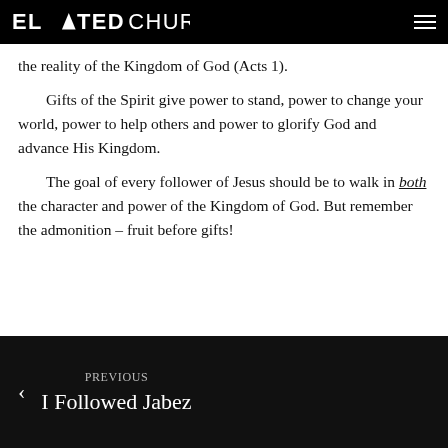ELEVATED CHURCH
the reality of the Kingdom of God (Acts 1).
Gifts of the Spirit give power to stand, power to change your world, power to help others and power to glorify God and advance His Kingdom.
The goal of every follower of Jesus should be to walk in both the character and power of the Kingdom of God. But remember the admonition – fruit before gifts!
PREVIOUS
I Followed Jabez